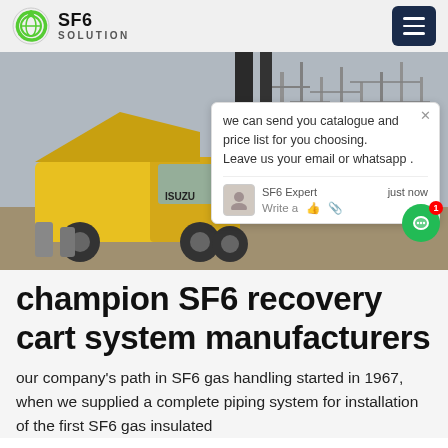SF6 SOLUTION
[Figure (photo): Yellow Isuzu truck at an electrical substation with high-voltage equipment and transmission towers in the background. A chat popup overlay is visible on the right side of the image.]
champion SF6 recovery cart system manufacturers
our company's path in SF6 gas handling started in 1967, when we supplied a complete piping system for installation of the first SF6 gas insulated